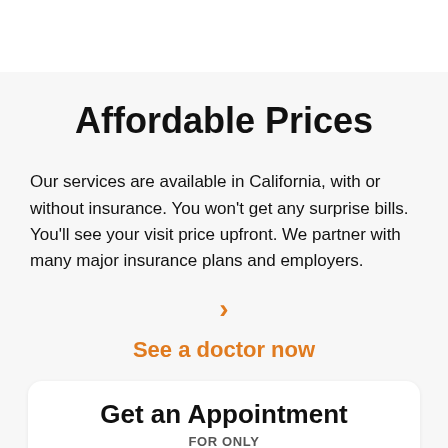Affordable Prices
Our services are available in California, with or without insurance. You won't get any surprise bills. You'll see your visit price upfront. We partner with many major insurance plans and employers.
>
See a doctor now
Get an Appointment
FOR ONLY